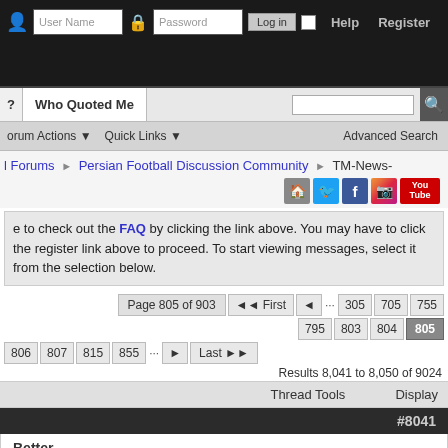User Name | Password | Log in | Help | Register
? | Who Quoted Me | Advanced Search
Forum Actions | Quick Links | Advanced Search
I Forums > Persian Football Discussion Community > TM-News-
[Figure (infographic): Social media icons: home, Twitter, Facebook, Instagram, YouTube]
e to check out the FAQ by clicking the link above. You may have to click the register link above to proceed. To start viewing messages, select it from the selection below.
Page 805 of 903 | First | < | ... | 305 | 705 | 755 | 795 | 803 | 804 | 805 | 806 | 807 | 815 | 855 | ... | > | Last >>
Results 8,041 to 8,050 of 9024
Thread Tools | Display
#8041
Better